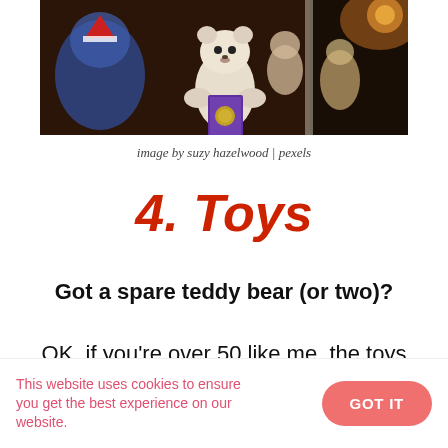[Figure (photo): Photo of teddy bears and stuffed toys in a store display, dark warm-toned lighting, split composition showing plush bears including a white bear holding a purple book/box]
image by suzy hazelwood | pexels
4. Toys
Got a spare teddy bear (or two)?
OK, if you're over 50 like me, the toys have
This website uses cookies to ensure you get the best experience on our website.
GOT IT